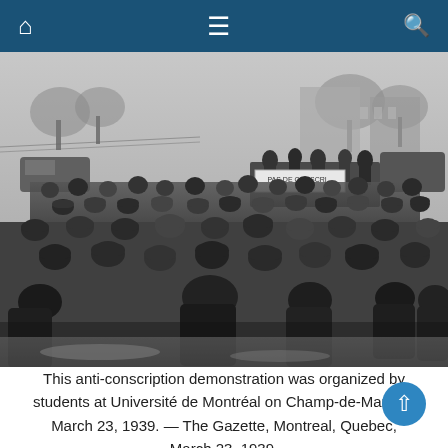Navigation bar with home, menu, and search icons
[Figure (photo): Black and white historical photograph showing a large crowd of people at an anti-conscription demonstration organized by students at Université de Montréal on Champ-de-Mars on March 23, 1939. The crowd is densely packed, wearing winter coats and hats. Some people are standing elevated on a vehicle or platform holding a banner. Bare trees and buildings are visible in the background.]
This anti-conscription demonstration was organized by students at Université de Montréal on Champ-de-Mars on March 23, 1939. — The Gazette, Montreal, Quebec, March 23, 1939.